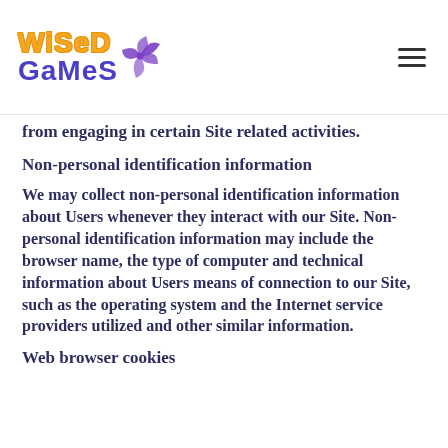Wised Games logo and navigation menu
from engaging in certain Site related activities.
Non-personal identification information
We may collect non-personal identification information about Users whenever they interact with our Site. Non-personal identification information may include the browser name, the type of computer and technical information about Users means of connection to our Site, such as the operating system and the Internet service providers utilized and other similar information.
Web browser cookies